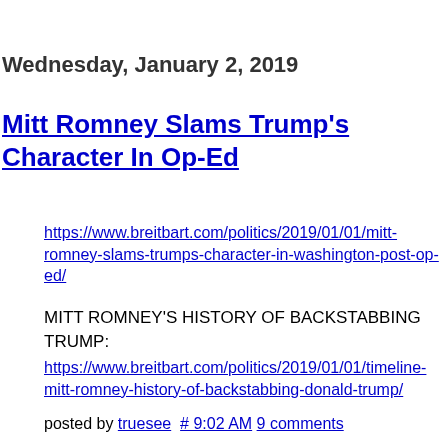Wednesday, January 2, 2019
Mitt Romney Slams Trump's Character In Op-Ed
https://www.breitbart.com/politics/2019/01/01/mitt-romney-slams-trumps-character-in-washington-post-op-ed/
MITT ROMNEY'S HISTORY OF BACKSTABBING TRUMP:
https://www.breitbart.com/politics/2019/01/01/timeline-mitt-romney-history-of-backstabbing-donald-trump/
posted by truesee  # 9:02 AM 9 comments